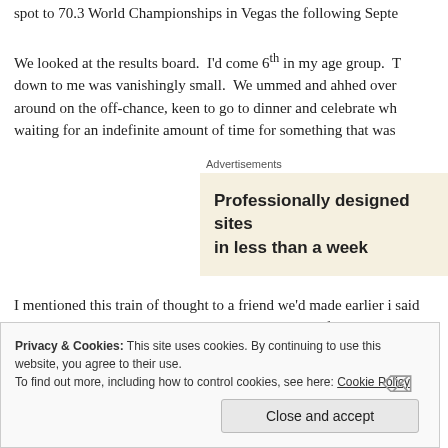spot to 70.3 World Championships in Vegas the following Septe
We looked at the results board.  I'd come 6th in my age group.  T down to me was vanishingly small.  We ummed and ahhed over around on the off-chance, keen to go to dinner and celebrate wh waiting for an indefinite amount of time for something that was
Advertisements
[Figure (other): Advertisement box with text: Professionally designed sites in less than a week]
I mentioned this train of thought to a friend we'd made earlier i said sternly, "Frankie, the slot might roll down, or even if it's ta ro
Privacy & Cookies: This site uses cookies. By continuing to use this website, you agree to their use.
To find out more, including how to control cookies, see here: Cookie Policy